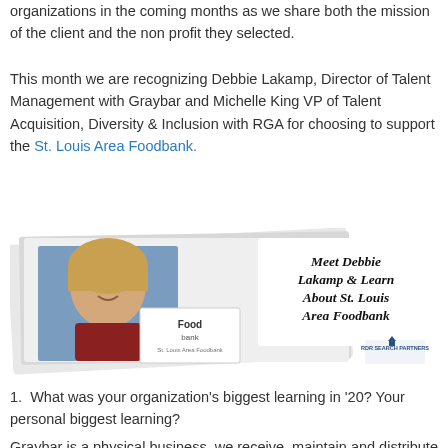organizations in the coming months as we share both the mission of the client and the non profit they selected.
This month we are recognizing Debbie Lakamp, Director of Talent Management with Graybar and Michelle King VP of Talent Acquisition, Diversity & Inclusion with RGA for choosing to support the St. Louis Area Foodbank.
[Figure (photo): Promotional image featuring a photo of Debbie Lakamp (a woman with blonde hair smiling), overlaid with the St. Louis Area Foodbank logo, and text reading 'Meet Debbie Lakamp & Learn About St. Louis Area Foodbank' in a handwritten-style font, with the RDR Search Partners logo in the bottom right.]
1.  What was your organization's biggest learning in '20? Your personal biggest learning?
Graybar is a physical business, we receive, maintain and distribute inventory to power the country's electrical and telecommunications businesses.  In 2020, we proved that